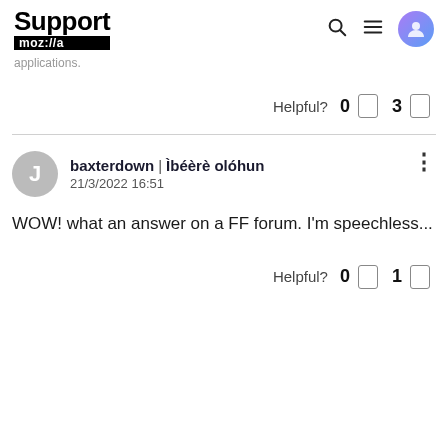Support mozilla
applications.
Helpful? 0 3
baxterdown | Ìbéèrè olóhun 21/3/2022 16:51
WOW! what an answer on a FF forum. I'm speechless...
Helpful? 0 1